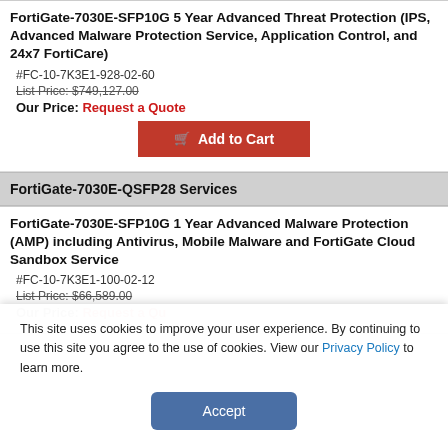FortiGate-7030E-SFP10G 5 Year Advanced Threat Protection (IPS, Advanced Malware Protection Service, Application Control, and 24x7 FortiCare)
#FC-10-7K3E1-928-02-60
List Price: $749,127.00
Our Price: Request a Quote
Add to Cart
FortiGate-7030E-QSFP28 Services
FortiGate-7030E-SFP10G 1 Year Advanced Malware Protection (AMP) including Antivirus, Mobile Malware and FortiGate Cloud Sandbox Service
#FC-10-7K3E1-100-02-12
List Price: $66,589.00
This site uses cookies to improve your user experience. By continuing to use this site you agree to the use of cookies. View our Privacy Policy to learn more.
Accept